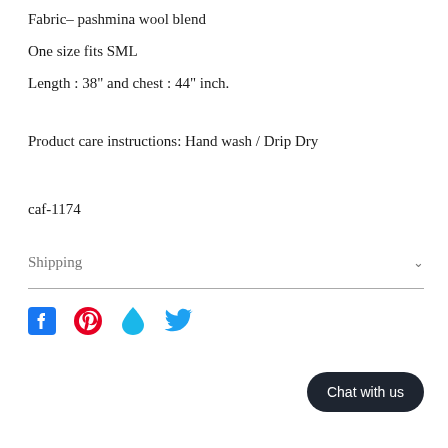Fabric– pashmina wool blend
One size fits SML
Length : 38" and chest : 44" inch.
Product care instructions: Hand wash / Drip Dry
caf-1174
Shipping
[Figure (other): Social media share icons: Facebook (blue), Pinterest (red), Fancy (cyan), Twitter (blue)]
Chat with us